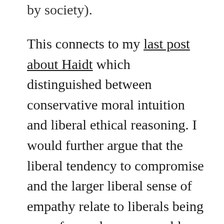by society).
This connects to my last post about Haidt which distinguished between conservative moral intuition and liberal ethical reasoning. I would further argue that the liberal tendency to compromise and the larger liberal sense of empathy relate to liberals being more focused on measurable results for society (over authority, social order, and group cohesion). This is the standard liberal defense of pragmatism. For conservatives, if their values are undermined, then any other result doesn't matter or else is less